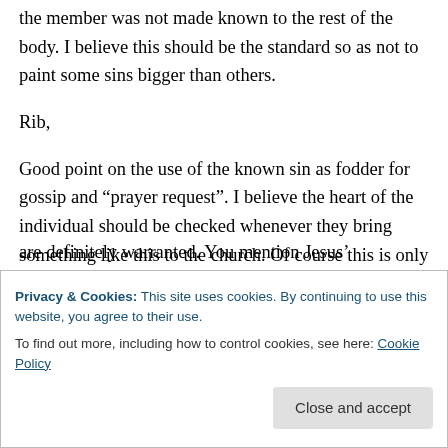the member was not made known to the rest of the body. I believe this should be the standard so as not to paint some sins bigger than others.
Rib,
Good point on the use of the known sin as fodder for gossip and “prayer request”. I believe the heart of the individual should be checked whenever they bring something like this to the church. Of course this is only after the difficult task of confronting them yourself has been
are definitely warranted. You mention Jesus’
Privacy & Cookies: This site uses cookies. By continuing to use this website, you agree to their use.
To find out more, including how to control cookies, see here: Cookie Policy